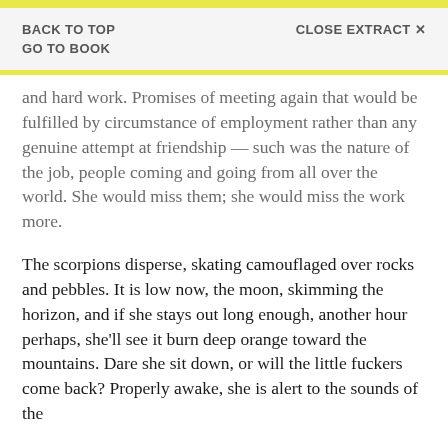BACK TO TOP    CLOSE EXTRACT ×
GO TO BOOK
and hard work. Promises of meeting again that would be fulfilled by circumstance of employment rather than any genuine attempt at friendship — such was the nature of the job, people coming and going from all over the world. She would miss them; she would miss the work more.
The scorpions disperse, skating camouflaged over rocks and pebbles. It is low now, the moon, skimming the horizon, and if she stays out long enough, another hour perhaps, she'll see it burn deep orange toward the mountains. Dare she sit down, or will the little fuckers come back? Properly awake, she is alert to the sounds of the